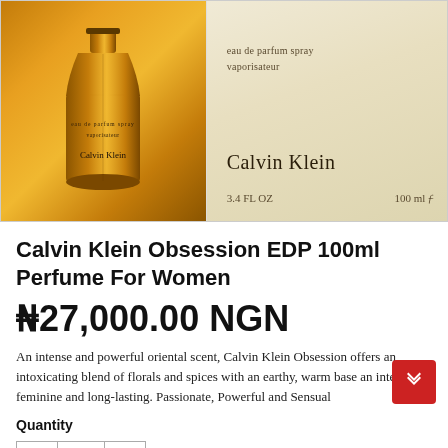[Figure (photo): Calvin Klein Obsession EDP 100ml perfume bottle (amber/orange glass) on the left and cream-colored product box on the right showing 'eau de parfum spray vaporisateur', 'Calvin Klein', '3.4 FL OZ', '100 ml']
Calvin Klein Obsession EDP 100ml Perfume For Women
₦27,000.00 NGN
An intense and powerful oriental scent, Calvin Klein Obsession offers an intoxicating blend of florals and spices with an earthy, warm base an intensely feminine and long-lasting. Passionate, Powerful and Sensual
Quantity